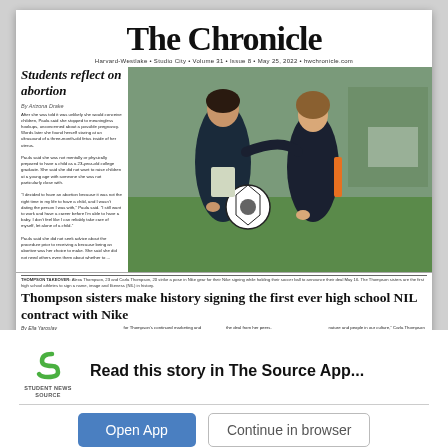The Chronicle
Harvard-Westlake • Studio City • Volume 31 • Issue 8 • May 25, 2022 • hwchronicle.com
Students reflect on abortion
By Arizona Drake
After she was told it was unlikely she would conceive children, Paula said she stopped to meaningless hookups, unconcerned about a possible pregnancy. Words later she found herself staring at an ultrasound of a three-month-old fetus inside of her uterus. Paula said she was not mentally or physically prepared to have a child as a 23-year-old college graduate. She said she did not want to raise children at a young age with someone she was not particularly close with. "I decided to have an abortion because it was not the right time in my life to have a child, and I wasn't dating the person I was with," Paula said. "I still want to work and have a career before I'm able to have a baby. I don't feel like I can reliably take care of myself, let alone of a child." Paula said she did not seek advice about the procedure prior to receiving a because being an abortive was her choice to make. She said she did not need others even them about whether to ...
[Figure (photo): Two young women in dark athletic jackets standing on a grass field, one holding a soccer ball. Photo for Thompson sisters NIL Nike contract story.]
THOMPSON TAKEOVER: Alexa Thompson, 23 and Carla Thompson, 20 strike a pose in Nike gear for their Nike signing while holding their soccer ball to announce their deal May 16. The Thompson sisters are the first high school athletes to sign a name, image and likeness (NIL) in history.
Thompson sisters make history signing the first ever high school NIL contract with Nike
By Ella Yaroslav
Girls soccer players Alexa Thompson, 23 and Carla ...
for Thompson's continued marketing and promotion. The sisters will return to play on the girls' soccer roster this ...
the deal from her peers. "My reaction to signing with Nike was unanimous internally and I felt so grateful that I was able ...
nature and people in our culture," Carla Thompson said. "We want to inspire young girls that don't have a lot of money to ...
[Figure (logo): Student News Source logo - green S icon with text STUDENT NEWS SOURCE]
Read this story in The Source App...
Open App
Continue in browser